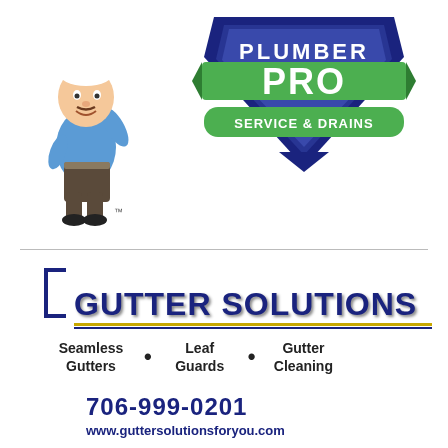[Figure (logo): Plumber Pro Service & Drains logo with cartoon plumber mascot and shield emblem]
[Figure (logo): Gutter Solutions logo with bracket design, gold and blue underlines, services list (Seamless Gutters, Leaf Guards, Gutter Cleaning), phone number 706-999-0201, and website www.guttersolutionsforyou.com]
[Figure (illustration): Grayscale illustration of a house roofline with chimney, on dark header bar background]